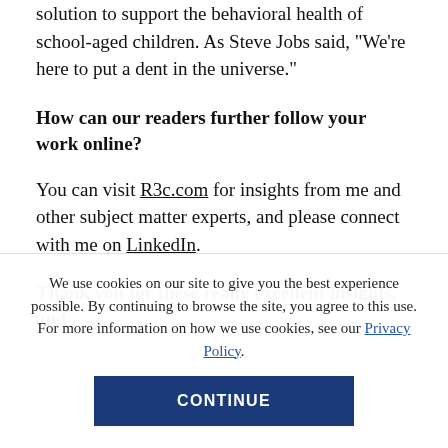solution to support the behavioral health of school-aged children. As Steve Jobs said, “We’re here to put a dent in the universe.”
How can our readers further follow your work online?
You can visit R3c.com for insights from me and other subject matter experts, and please connect with me on LinkedIn.
Thank you for these really excellent insights, and
We use cookies on our site to give you the best experience possible. By continuing to browse the site, you agree to this use. For more information on how we use cookies, see our Privacy Policy.
CONTINUE